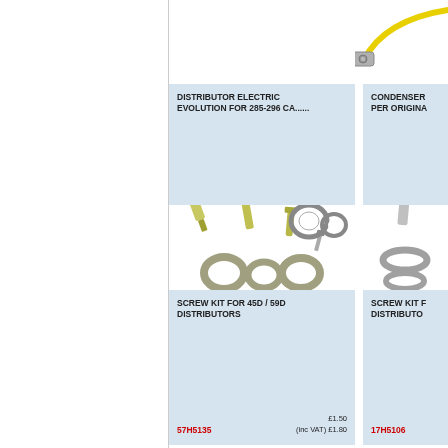[Figure (logo): Circular gold badge/seal logo]
[Figure (photo): Yellow condenser wire with metal terminal connector]
[Figure (photo): Distributor electric evolution part photo]
DISTRIBUTOR ELECTRIC EVOLUTION FOR 285-296 CA......
C-27H7699
£75.00
(inc VAT) £90.00
CONDENSER PER ORIGINA
47H5250
[Figure (photo): Screw kit with bolts, screws, washers and circlips for 45D/59D distributors]
SCREW KIT FOR 45D / 59D DISTRIBUTORS
57H5135
£1.50
(inc VAT) £1.80
[Figure (photo): Screw kit with bolt, washer and rubber pieces]
SCREW KIT F DISTRIBUTO
17H5106